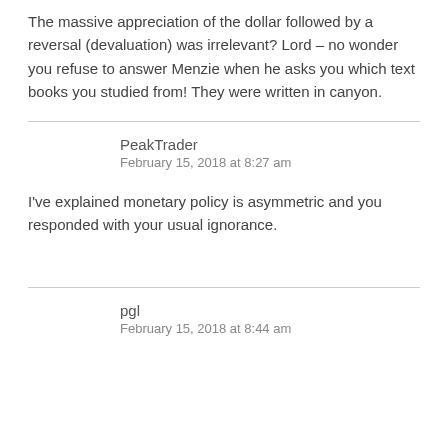The massive appreciation of the dollar followed by a reversal (devaluation) was irrelevant? Lord – no wonder you refuse to answer Menzie when he asks you which text books you studied from! They were written in canyon.
PeakTrader
February 15, 2018 at 8:27 am
I've explained monetary policy is asymmetric and you responded with your usual ignorance.
pgl
February 15, 2018 at 8:44 am